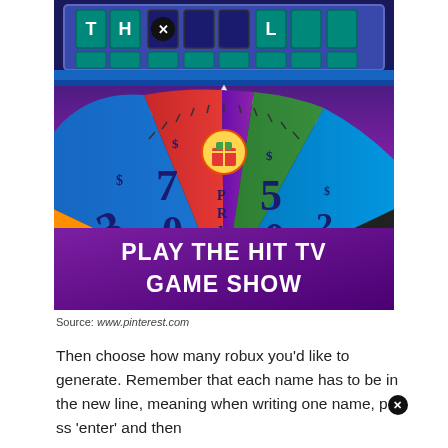[Figure (screenshot): Wheel of Fortune mobile game screenshot showing a colorful spinning wheel with dollar amounts ($300, $700, PRIZE, $500, $25) and a letter board at the top with tiles showing 'TH', an X, and 'L'. A purple banner at the bottom reads 'PLAY THE HIT TV GAME SHOW'.]
Source: www.pinterest.com
Then choose how many robux you'd like to generate. Remember that each name has to be in the new line, meaning when writing one name, press 'enter' and then